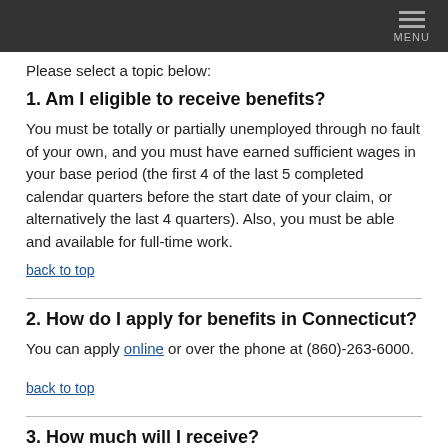MENU
Please select a topic below:
1. Am I eligible to receive benefits?
You must be totally or partially unemployed through no fault of your own, and you must have earned sufficient wages in your base period (the first 4 of the last 5 completed calendar quarters before the start date of your claim, or alternatively the last 4 quarters). Also, you must be able and available for full-time work.
back to top
2. How do I apply for benefits in Connecticut?
You can apply online or over the phone at (860)-263-6000.
back to top
3. How much will I receive?
Your weekly benefit amount will be 1/26 of the average of the 2 highest quarters during your base period (or the single highest